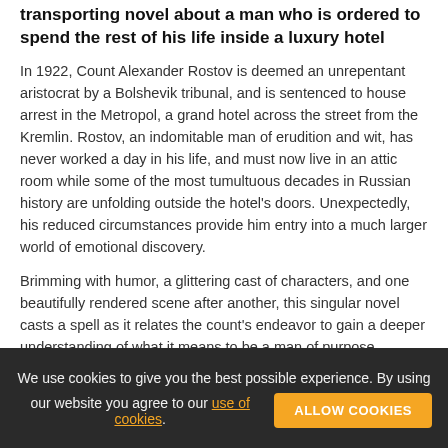transporting novel about a man who is ordered to spend the rest of his life inside a luxury hotel
In 1922, Count Alexander Rostov is deemed an unrepentant aristocrat by a Bolshevik tribunal, and is sentenced to house arrest in the Metropol, a grand hotel across the street from the Kremlin. Rostov, an indomitable man of erudition and wit, has never worked a day in his life, and must now live in an attic room while some of the most tumultuous decades in Russian history are unfolding outside the hotel's doors. Unexpectedly, his reduced circumstances provide him entry into a much larger world of emotional discovery.
Brimming with humor, a glittering cast of characters, and one beautifully rendered scene after another, this singular novel casts a spell as it relates the count's endeavor to gain a deeper understanding of what it means to be a man of purpose.
We use cookies to give you the best possible experience. By using our website you agree to our use of cookies. ALLOW COOKIES